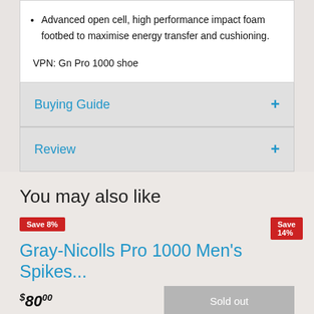Advanced open cell, high performance impact foam footbed to maximise energy transfer and cushioning.
VPN: Gn Pro 1000 shoe
Buying Guide
Review
You may also like
Save 8%
Save 14%
Gray-Nicolls Pro 1000 Men's Spikes...
$80.00
Sold out